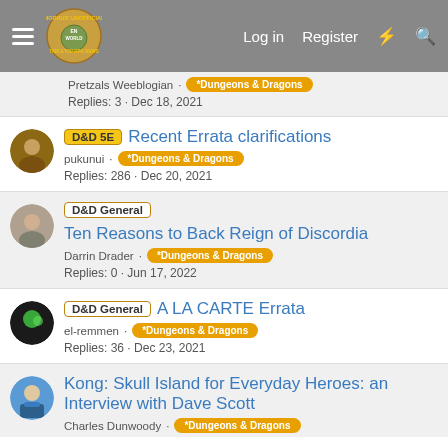Morrus' Unofficial Tabletop RPG News — Log in | Register
Pretzals Weeblogian · *Dungeons & Dragons
Replies: 3 · Dec 18, 2021
[D&D 5E] Recent Errata clarifications — pukunui · *Dungeons & Dragons — Replies: 286 · Dec 20, 2021
[D&D General] Ten Reasons to Back Reign of Discordia — Darrin Drader · *Dungeons & Dragons — Replies: 0 · Jun 17, 2022
[D&D General] A LA CARTE Errata — el-remmen · *Dungeons & Dragons — Replies: 36 · Dec 23, 2021
Kong: Skull Island for Everyday Heroes: an Interview with Dave Scott — Charles Dunwoody · *Dungeons & Dragons